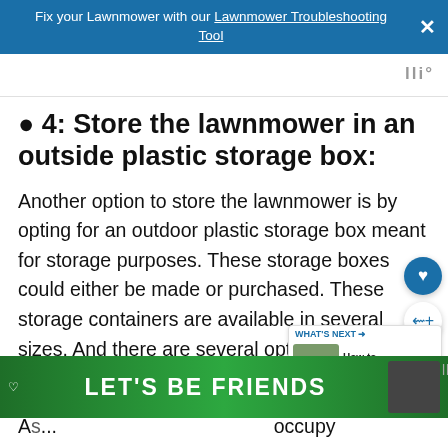Fix your Lawnmower with our Lawnmower Troubleshooting Tool
4: Store the lawnmower in an outside plastic storage box:
Another option to store the lawnmower is by opting for an outdoor plastic storage box meant for storage purposes. These storage boxes could either be made or purchased. These storage containers are available in several sizes. And there are several options that one could easily fit their entire lawnmower inside.
A... occupy